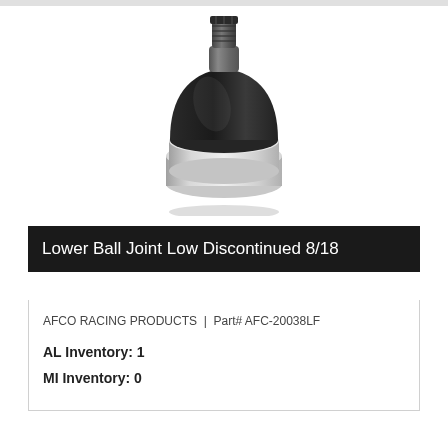[Figure (photo): Photo of a lower ball joint automotive part — black dome-shaped housing on top with a threaded stud, mounted on a silver/chrome cylindrical base flange.]
Lower Ball Joint Low Discontinued 8/18
AFCO RACING PRODUCTS  |  Part# AFC-20038LF
AL Inventory: 1
MI Inventory: 0